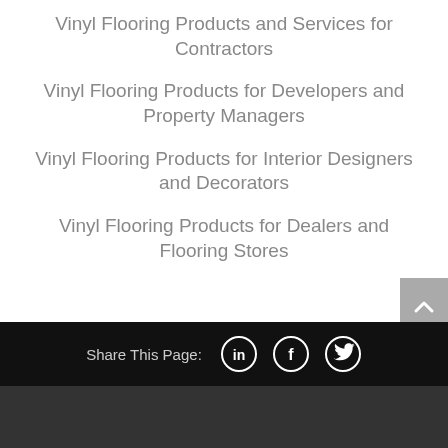Vinyl Flooring Products and Services for Contractors
Vinyl Flooring Products for Developers and Property Managers
Vinyl Flooring Products for Interior Designers and Decorators
Vinyl Flooring Products for Dealers and Flooring Stores
Share This Page: [LinkedIn] [Facebook] [Twitter]